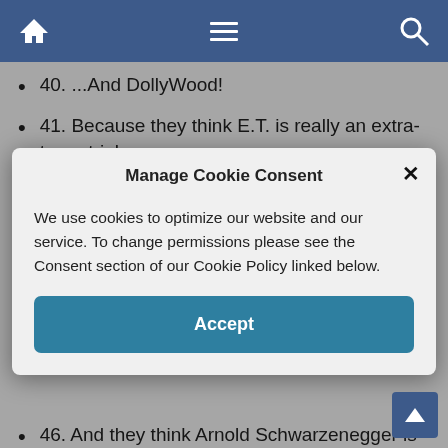Navigation bar with home, menu, and search icons
40. ...And DollyWood!
41. Because they think E.T. is really an extra-terrestrial
[Figure (screenshot): Manage Cookie Consent modal dialog with Accept button and close (x) button. Text: We use cookies to optimize our website and our service. To change permissions please see the Consent section of our Cookie Policy linked below.]
46. And they think Arnold Schwarzenegger is an excellent actor.
47. Because Steven Spielberg makes them think
48. And they still think Elvis is alive
49. And that JFK was only a movie.